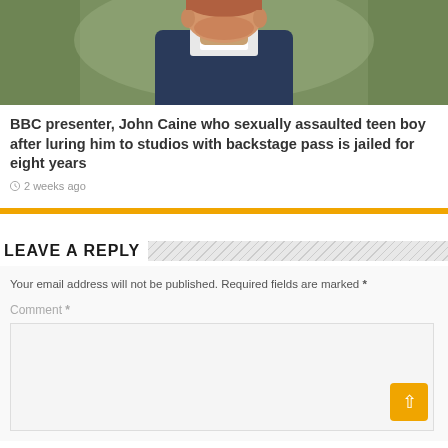[Figure (photo): Photo of a man from the chest up, appearing to be outdoors with a blurred background. The man is wearing a dark jacket with a white collar visible.]
BBC presenter, John Caine who sexually assaulted teen boy after luring him to studios with backstage pass is jailed for eight years
2 weeks ago
LEAVE A REPLY
Your email address will not be published. Required fields are marked *
Comment *